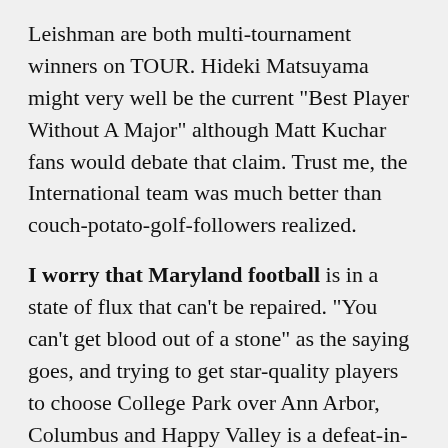Leishman are both multi-tournament winners on TOUR. Hideki Matsuyama might very well be the current "Best Player Without A Major" although Matt Kuchar fans would debate that claim. Trust me, the International team was much better than couch-potato-golf-followers realized.
I worry that Maryland football is in a state of flux that can't be repaired. "You can't get blood out of a stone" as the saying goes, and trying to get star-quality players to choose College Park over Ann Arbor, Columbus and Happy Valley is a defeat-in-waiting. That's not to say that Maryland shouldn't try and improve their football program. But there's a concern that perhaps they're spending more money on chasing a ghost than they should be spending. Spend the money on basketball, soccer and lacrosse and win national titles in those sports. Football is what it is at Maryland. They're closing in on being everyone's homecoming game.